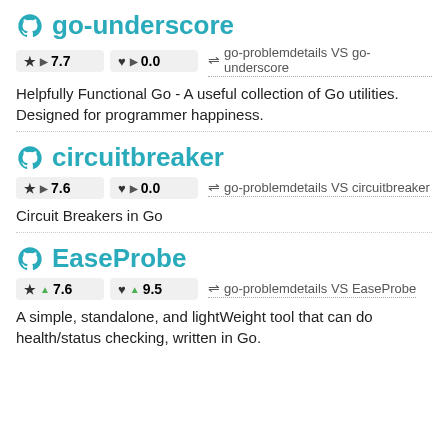go-underscore
★ ▶ 7.7   ♥ ▶ 0.0   ⇌ go-problemdetails VS go-underscore
Helpfully Functional Go - A useful collection of Go utilities. Designed for programmer happiness.
circuitbreaker
★ ▶ 7.6   ♥ ▶ 0.0   ⇌ go-problemdetails VS circuitbreaker
Circuit Breakers in Go
EaseProbe
★ ▲ 7.6   ♥ ▲ 9.5   ⇌ go-problemdetails VS EaseProbe
A simple, standalone, and lightWeight tool that can do health/status checking, written in Go.